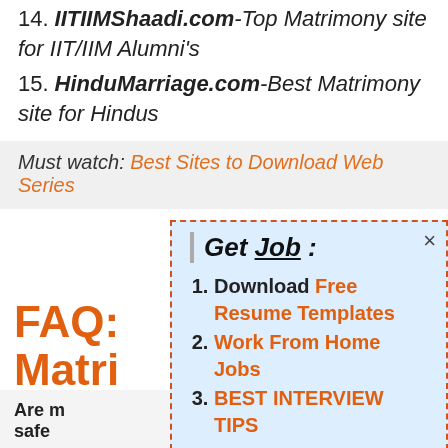14. IITIIMShaadi.com-Top Matrimony site for IIT/IIM Alumni's
15. HinduMarriage.com-Best Matrimony site for Hindus
Must watch: Best Sites to Download Web Series
FAQ: Matrimony India
Are matrimony sites safe
[Figure (screenshot): Popup overlay with 'Get Job :' title and list: 1. Download Free Resume Templates, 2. Work From Home Jobs, 3. BEST INTERVIEW TIPS. Has dashed red border and close X button.]